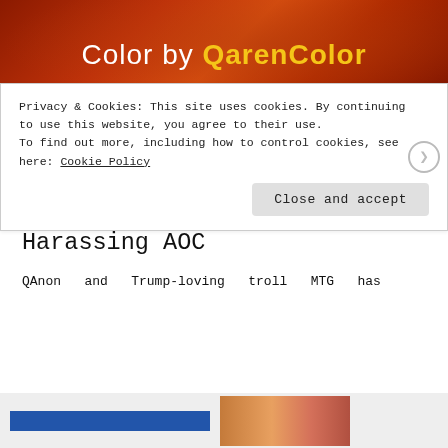[Figure (illustration): Red swirling decorative banner with text 'Color by QarenColor' in white and yellow bold font]
MAY 17, 2021 BY WEEKLY JOURNAL
Creepy QAnon And Trump-Loving Marjorie Taylor Greene Embarrasses Herself Harassing AOC
QAnon and Trump-loving troll MTG has
Privacy & Cookies: This site uses cookies. By continuing to use this website, you agree to their use. To find out more, including how to control cookies, see here: Cookie Policy
Close and accept